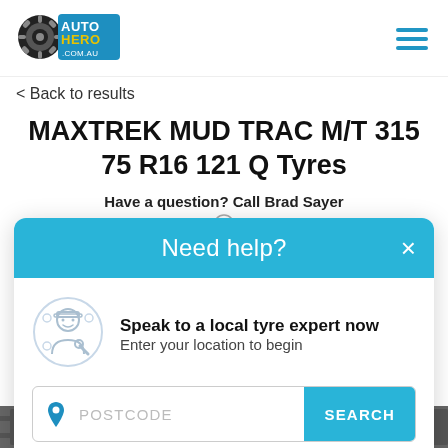[Figure (logo): AutoHero.com.au logo with tire icon and blue text]
< Back to results
MAXTREK MUD TRAC M/T 315 75 R16 121 Q Tyres
Have a question? Call Brad Sayer
[Figure (screenshot): Need help? modal popup with mechanic icon, postcode input and search button]